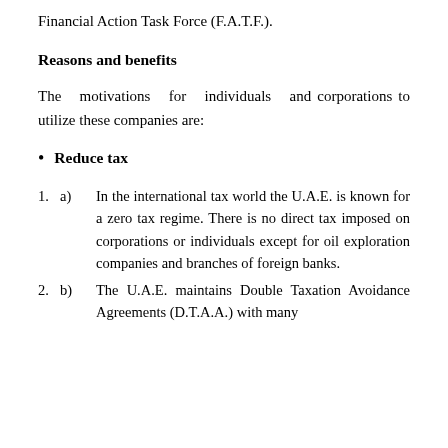Financial Action Task Force (F.A.T.F.).
Reasons and benefits
The motivations for individuals and corporations to utilize these companies are:
Reduce tax
a) In the international tax world the U.A.E. is known for a zero tax regime. There is no direct tax imposed on corporations or individuals except for oil exploration companies and branches of foreign banks.
b) The U.A.E. maintains Double Taxation Avoidance Agreements (D.T.A.A.) with many